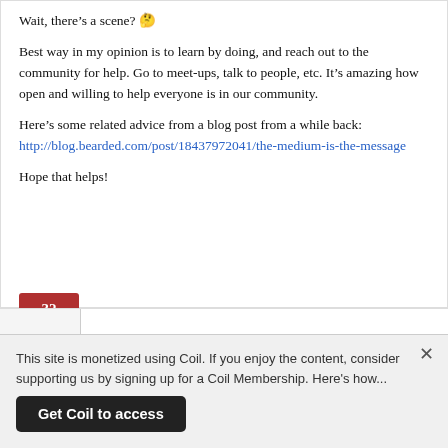Wait, there’s a scene? 😉
Best way in my opinion is to learn by doing, and reach out to the community for help. Go to meet-ups, talk to people, etc. It’s amazing how open and willing to help everyone is in our community.
Here’s some related advice from a blog post from a while back: http://blog.bearded.com/post/18437972041/the-medium-is-the-message
Hope that helps!
32
This site is monetized using Coil. If you enjoy the content, consider supporting us by signing up for a Coil Membership. Here’s how...
Get Coil to access